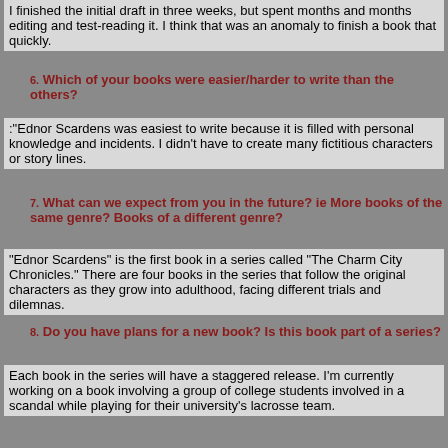I finished the initial draft in three weeks, but spent months and months editing and test-reading it. I think that was an anomaly to finish a book that quickly.
6. Which of your books were easier/harder to write than the others?
:"Ednor Scardens was easiest to write because it is filled with personal knowledge and incidents. I didn't have to create many fictitious characters or story lines.
7. What can we expect from you in the future? ie More books of the same genre? Books of a different genre?
"Ednor Scardens" is the first book in a series called "The Charm City Chronicles." There are four books in the series that follow the original characters as they grow into adulthood, facing different trials and dilemnas.
8. Do you have plans for a new book? Is this book part of a series?
Each book in the series will have a staggered release. I'm currently working on a book involving a group of college students involved in a scandal while playing for their university's lacrosse team.
9. What genre would you place your books into?
I hate classifying books, but I'd place them in Literary Fiction and the sub-categories of coming of age, romance, women's and young adult.